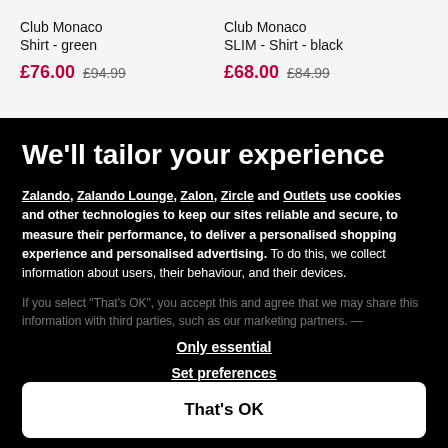Club Monaco
Shirt - green
£76.00  £94.99
Club Monaco
SLIM - Shirt - black
£68.00  £84.99
We'll tailor your experience
Zalando, Zalando Lounge, Zalon, Zircle and Outlets use cookies and other technologies to keep our sites reliable and secure, to measure their performance, to deliver a personalised shopping experience and personalised advertising. To do this, we collect information about users, their behaviour, and their devices.
If you select "That's OK", you accept this and agree that we may share this information with third parties, such as our marketing partners.
Only essential
Set preferences
That's OK